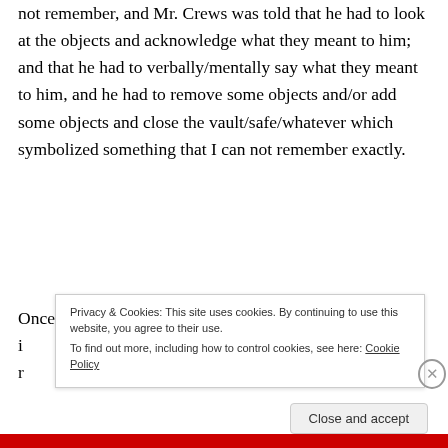not remember, and Mr. Crews was told that he had to look at the objects and acknowledge what they meant to him; and that he had to verbally/mentally say what they meant to him, and he had to remove some objects and/or add some objects and close the vault/safe/whatever which symbolized something that I can not remember exactly.
Once this process was done, this would be i... r...
Privacy & Cookies: This site uses cookies. By continuing to use this website, you agree to their use.
To find out more, including how to control cookies, see here: Cookie Policy
Close and accept